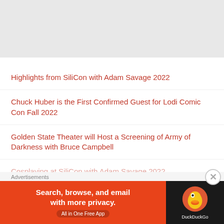[Figure (other): Gray banner area at top of page]
Highlights from SiliCon with Adam Savage 2022
Chuck Huber is the First Confirmed Guest for Lodi Comic Con Fall 2022
Golden State Theater will Host a Screening of Army of Darkness with Bruce Campbell
Cosplaying at SiliCon with Adam Savage 2022
Advertisements
[Figure (other): DuckDuckGo advertisement banner: Search, browse, and email with more privacy. All in One Free App]